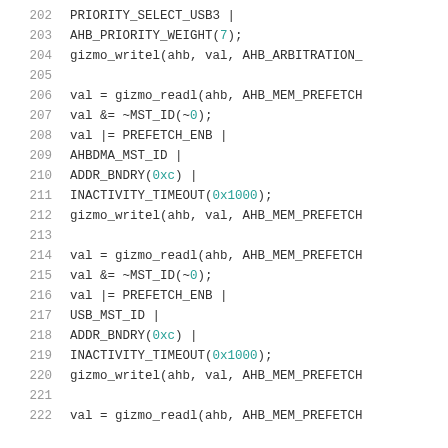Source code listing lines 202-222 showing C/embedded code with gizmo_writel, gizmo_readl, AHB memory prefetch and arbitration configuration